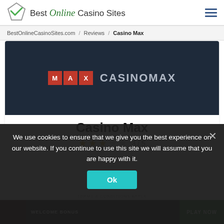[Figure (logo): Best Online Casino Sites website header with diamond/checkmark logo and site name]
BestOnlineCasinoSites.com / Reviews / Casino Max
[Figure (screenshot): Casino Max dark navy banner with MAX logo boxes in red and CASINOMAX text]
Casino Max
3 / 5 (star rating)
We use cookies to ensure that we give you the best experience on our website. If you continue to use this site we will assume that you are happy with it.
Ok
WELCOME BONUS
PLAY NOW
TERMS & CONDITIONS APPLY